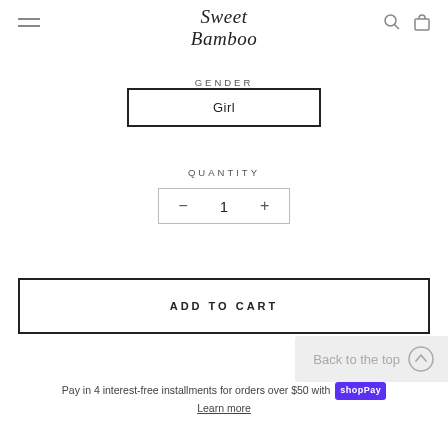Sweet Bamboo
GENDER
Girl
QUANTITY
- 1 +
ADD TO CART
Back to the top
Pay in 4 interest-free installments for orders over $50 with shopPay
Learn more